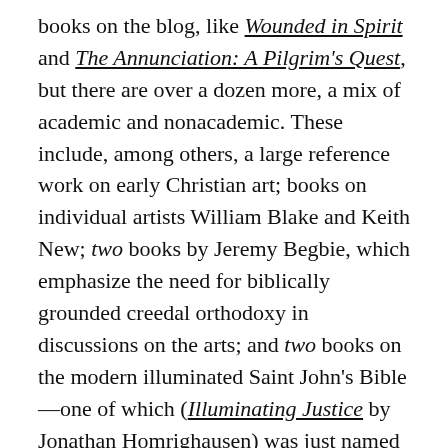books on the blog, like Wounded in Spirit and The Annunciation: A Pilgrim's Quest, but there are over a dozen more, a mix of academic and nonacademic. These include, among others, a large reference work on early Christian art; books on individual artists William Blake and Keith New; two books by Jeremy Begbie, which emphasize the need for biblically grounded creedal orthodoxy in discussions on the arts; and two books on the modern illuminated Saint John's Bible—one of which (Illuminating Justice by Jonathan Homrighausen) was just named among the top twelve theology books of the year by the Englewood Review of Books. Like Homrighausen, art historian Heidi J. Hornik also links art and ethics, in her book The Art of